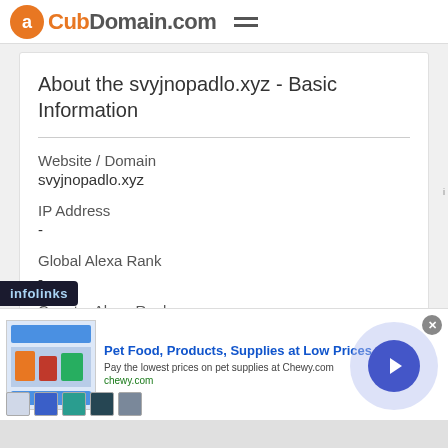CubDomain.com
About the svyjnopadlo.xyz - Basic Information
Website / Domain
svyjnopadlo.xyz
IP Address
-
Global Alexa Rank
-
Country Alexa Rank
[Figure (screenshot): Infolinks overlay bar at bottom left]
[Figure (screenshot): Advertisement banner for Chewy.com pet supplies with close button and navigation arrow]